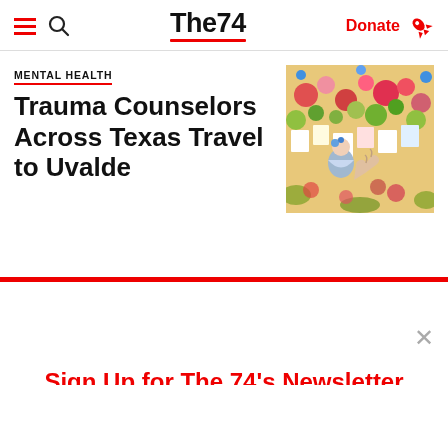The74 — navigation bar with hamburger menu, search icon, The74 logo, Donate button and rocket icon
MENTAL HEALTH
Trauma Counselors Across Texas Travel to Uvalde
[Figure (photo): A child at a memorial covered in flowers and photos, with an adult hand visible.]
Sign Up for The 74's Newsletter
Get the best of The 74's education news, analysis and commentary in your inbox each weekday morning.
Subscribe